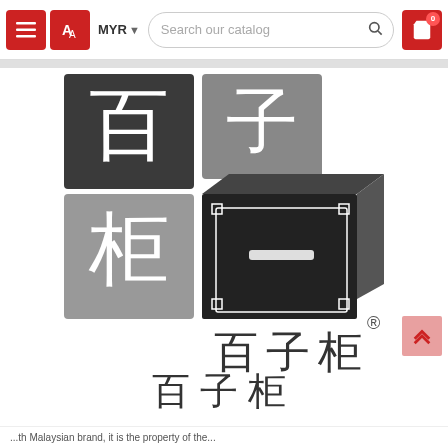[Figure (logo): Website navigation bar with hamburger menu button (red), translation button (red), MYR currency selector, search bar reading 'Search our catalog', and red shopping cart button with badge showing 0]
[Figure (logo): Bai Zi Gui brand logo: four square tiles with Chinese characters (百, 子, 柜) and a 3D drawer/cabinet icon, followed by Chinese text 百子柜 and romanized text 'bai zi gui' with registered trademark symbol]
...th Malaysian brand, it is the property of the...